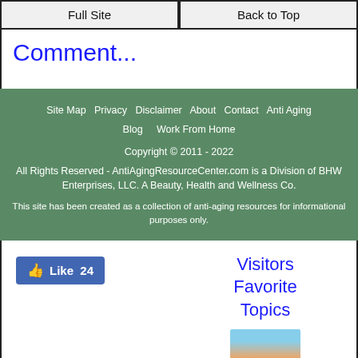Full Site | Back to Top
Comment...
Site Map  Privacy  Disclaimer  About  Contact  Anti Aging Blog  Work From Home
Copyright © 2011 - 2022
All Rights Reserved - AntiAgingResourceCenter.com is a Division of BHW Enterprises, LLC. A Beauty, Health and Wellness Co.
This site has been created as a collection of anti-aging resources for informational purposes only.
Like 24
Visitors Favorite Topics